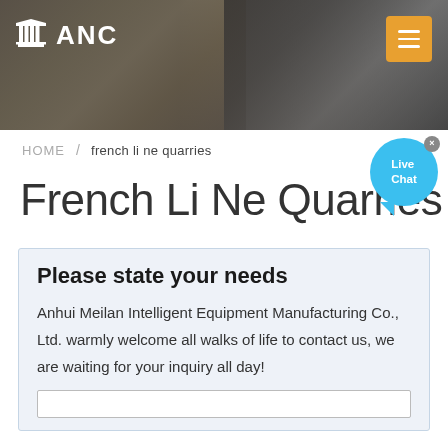[Figure (photo): Website header banner with industrial factory background on left and microphones/press conference on right, with dark overlay]
ANC
HOME / french li ne quarries
French Li Ne Quarries
Please state your needs
Anhui Meilan Intelligent Equipment Manufacturing Co., Ltd. warmly welcome all walks of life to contact us, we are waiting for your inquiry all day!